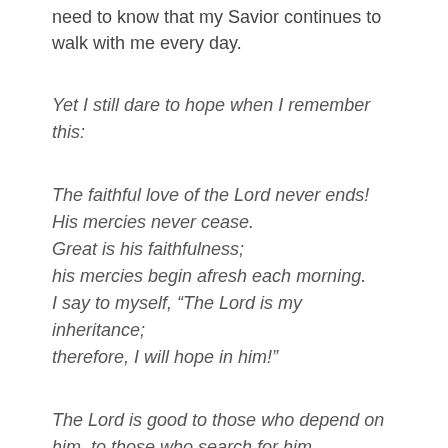need to know that my Savior continues to walk with me every day.
Yet I still dare to hope when I remember this:
The faithful love of the Lord never ends!
His mercies never cease.
Great is his faithfulness;
his mercies begin afresh each morning.
I say to myself, “The Lord is my inheritance;
therefore, I will hope in him!”
The Lord is good to those who depend on him, to those who search for him. Lamentations 3:22-25 (NLT)
By reading at least the whole chapter, I got a full